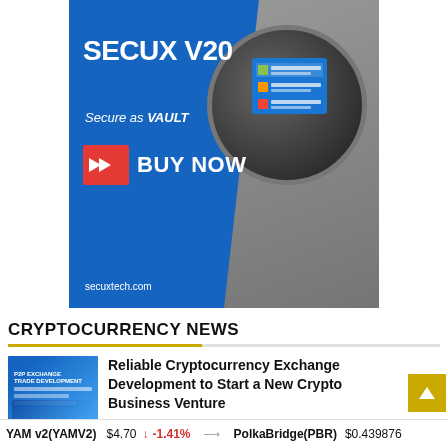[Figure (illustration): SecuX V20 hardware wallet advertisement. Blue background on left side with text 'SECUX V20', 'Secure as VAULT', red button with chevron arrows and 'BUY NOW', and URL 'secuxtech.com'. Right side shows a hand touching a circular black device with a small colored screen.]
CRYPTOCURRENCY NEWS
[Figure (photo): Thumbnail image for cryptocurrency exchange development article, showing blue blockchain/crypto graphics and text.]
Reliable Cryptocurrency Exchange Development to Start a New Crypto Business Venture
YAM v2(YAMV2)   $4.70   ↓ -1.41%       PolkaBridge(PBR)   $0.439876